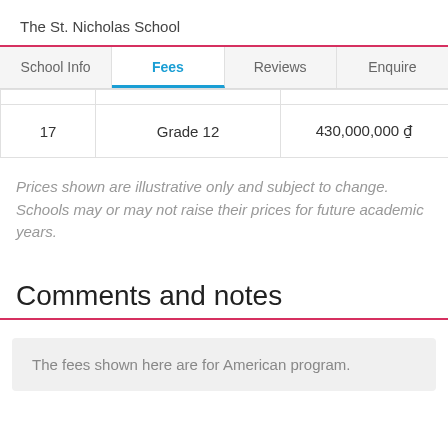The St. Nicholas School
|  | School Info | Fees | Reviews | Enquire |
| --- | --- | --- | --- | --- |
|  |  |  |  |  |
| 17 | Grade 12 | 430,000,000 ₫ |  |  |
Prices shown are illustrative only and subject to change. Schools may or may not raise their prices for future academic years.
Comments and notes
The fees shown here are for American program.